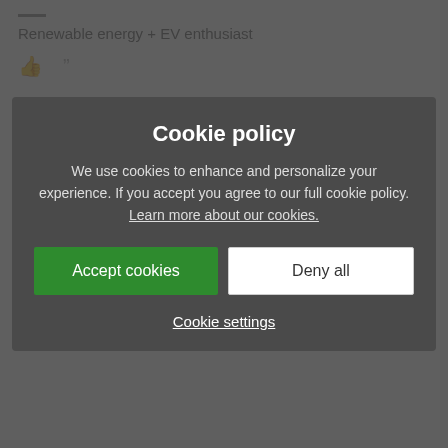Renewable energy + EV enthusiast
If you were a passenger in my car @ITGeek123 I would bet that you would be completely unaware of the operation of level 3 regeneration. However that couldn't be said for wife driving. In my w... being aware... accelerator f... over a year now I doubt th... than to activate "auto h... ions.
Cookie policy
We use cookies to enhance and personalize your experience. If you accept you agree to our full cookie policy. Learn more about our cookies.
Accept cookies | Deny all
Cookie settings